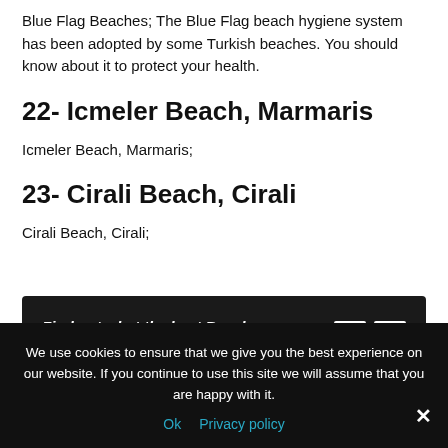Blue Flag Beaches; The Blue Flag beach hygiene system has been adopted by some Turkish beaches. You should know about it to protect your health.
22- Icmeler Beach, Marmaris
Icmeler Beach, Marmaris;
23- Cirali Beach, Cirali
Cirali Beach, Cirali;
[Figure (screenshot): Dark banner widget showing 'Find out what the best Beaches in Turkey are' with navigation showing '1 of 11' and left/right arrows]
We use cookies to ensure that we give you the best experience on our website. If you continue to use this site we will assume that you are happy with it.
Ok   Privacy policy